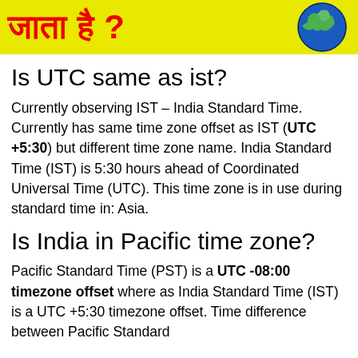[Figure (illustration): Yellow banner with red Hindi text (जाता है?) on the left and a globe illustration on the right]
Is UTC same as ist?
Currently observing IST – India Standard Time. Currently has same time zone offset as IST (UTC +5:30) but different time zone name. India Standard Time (IST) is 5:30 hours ahead of Coordinated Universal Time (UTC). This time zone is in use during standard time in: Asia.
Is India in Pacific time zone?
Pacific Standard Time (PST) is a UTC -08:00 timezone offset where as India Standard Time (IST) is a UTC +5:30 timezone offset. Time difference between Pacific Standard